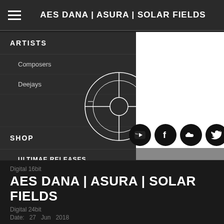AES DANA | ASURA | SOLAR FIELDS
ARTISTS
Composers
Deejays
SHOP
ULTIMAE RELEASES
Ultimae CD
Events
Ultimae VINYL
Ultimae DIGITAL
[Figure (logo): Ultimae Records circular crosshair logo with text 'ult REC']
[Figure (infographic): Social media icons row: YouTube, Facebook, SoundCloud, Twitter, cloud icon, VK]
Digital 16bit
AES DANA | ASURA | SOLAR FIELDS
Digital 24bit
Date: 27 Jun 2018